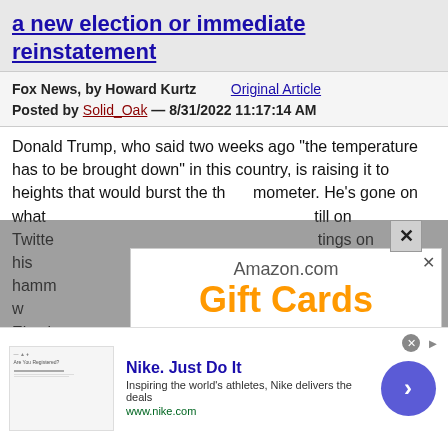a new election or immediate reinstatement
Fox News, by Howard Kurtz   Original Article
Posted by Solid_Oak — 8/31/2022 11:17:14 AM
Donald Trump, who said two weeks ago "the temperature has to be brought down" in this country, is raising it to heights that would burst the thermometer. He's gone on what … till on Twitter … tings on his … ps the hamm… ; and this w… Electi… Electi…
[Figure (screenshot): Amazon.com Gift Cards popup advertisement showing three gift card types: happy birthday, Amazon Kindle, and Congratulations, with a close button (×)]
[Figure (screenshot): Nike Just Do It advertisement bar at the bottom with text: Nike. Just Do It. Inspiring the world's athletes, Nike delivers the deals. www.nike.com. A blue circle with a right-arrow button on the right side.]